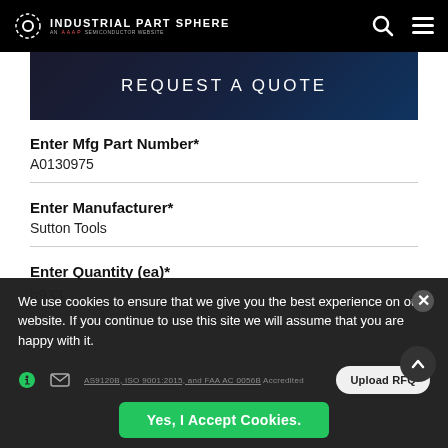INDUSTRIAL PART SPHERE
REQUEST A QUOTE
Enter Mfg Part Number*
A0130975
Enter Manufacturer*
Sutton Tools
Enter Quantity (ea)*
b933
We use cookies to ensure that we give you the best experience on our website. If you continue to use this site we will assume that you are happy with it.
AS9120B, ISO 9001:2015, and FAA AC 0056B Accredited
Yes, I Accept Cookies.
Upload RFQ